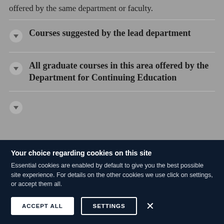offered by the same department or faculty.
Courses suggested by the lead department
All graduate courses in this area offered by the Department for Continuing Education
Your choice regarding cookies on this site
Essential cookies are enabled by default to give you the best possible site experience. For details on the other cookies we use click on settings, or accept them all.